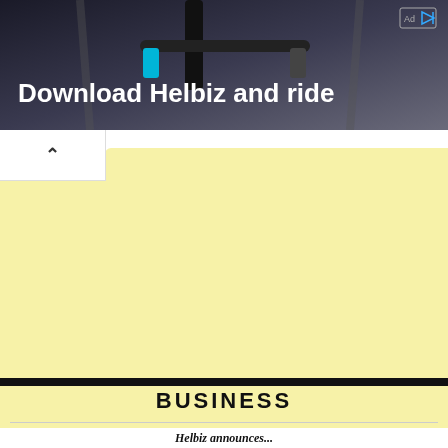[Figure (photo): Advertisement banner showing a scooter handlebar with text 'Download Helbiz and ride' on a dark background, with an ad badge in the top right corner.]
^
[Figure (other): Large light yellow advertisement block placeholder area]
BUSINESS
Helbiz announces...